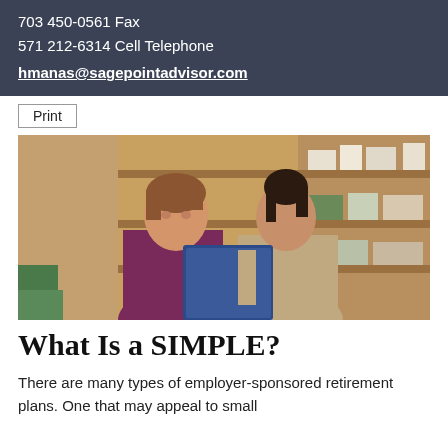703 450-0561 Fax
571 212-6314 Cell Telephone
hmanas@sagepointadvisor.com
[Figure (photo): Two women in a retail store looking at a blue folder/binder together. Shelves with stationery and gift items visible in the background.]
What Is a SIMPLE?
There are many types of employer-sponsored retirement plans. One that may appeal to small